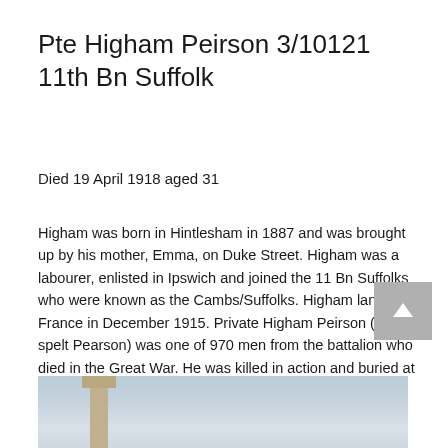Pte Higham Peirson 3/10121 11th Bn Suffolk
Died 19 April 1918 aged 31
Higham was born in Hintlesham in 1887 and was brought up by his mother, Emma, on Duke Street. Higham was a labourer, enlisted in Ipswich and joined the 11 Bn Suffolks who were known as the Cambs/Suffolks. Higham landed in France in December 1915. Private Higham Peirson (also spelt Pearson) was one of 970 men from the battalion who died in the Great War. He was killed in action and buried at Suffolk Cemetery (see photograph) , La Rolanderie Farm, Erquinghem-Lys. Ref: II. A. 9 . The cemetery contains the graves of 43 soldiers from the UK of which 36 served with the 11th and 12th battalions of the Suffolks.
[Figure (photo): Partial photograph of a war cemetery monument/cross against a cloudy sky, likely Suffolk Cemetery at La Rolanderie Farm, Erquinghem-Lys.]